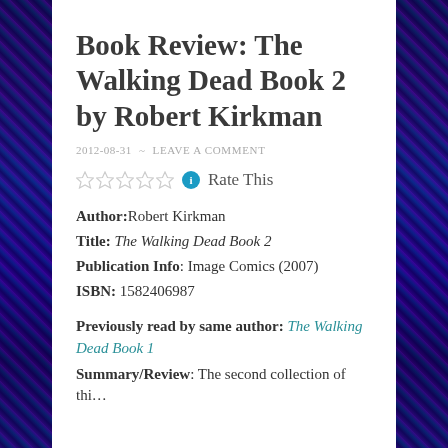Book Review: The Walking Dead Book 2 by Robert Kirkman
2012-08-31 ~ LEAVE A COMMENT
Rate This
Author: Robert Kirkman
Title: The Walking Dead Book 2
Publication Info: Image Comics (2007)
ISBN: 1582406987
Previously read by same author: The Walking Dead Book 1
Summary/Review: The second collection of this...